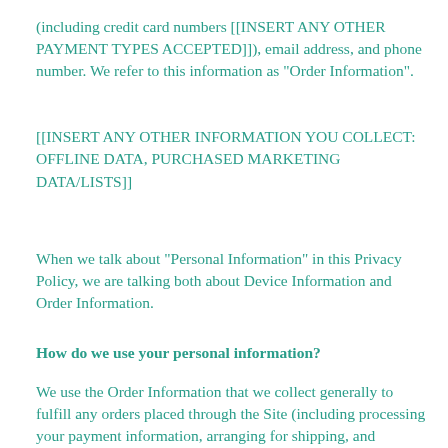(including credit card numbers [[INSERT ANY OTHER PAYMENT TYPES ACCEPTED]]), email address, and phone number. We refer to this information as “Order Information”.
[[INSERT ANY OTHER INFORMATION YOU COLLECT: OFFLINE DATA, PURCHASED MARKETING DATA/LISTS]]
When we talk about “Personal Information” in this Privacy Policy, we are talking both about Device Information and Order Information.
How do we use your personal information?
We use the Order Information that we collect generally to fulfill any orders placed through the Site (including processing your payment information, arranging for shipping, and providing you with invoices